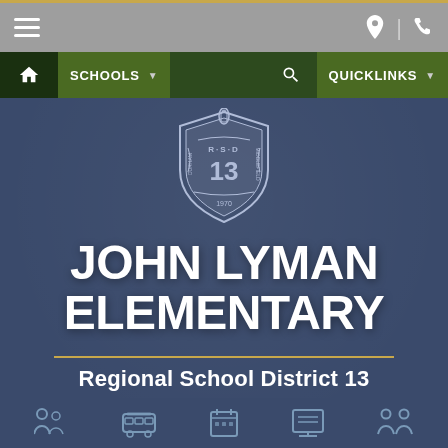Navigation bar with hamburger menu, location icon, and phone icon
[Figure (screenshot): Navigation bar with SCHOOLS and QUICKLINKS dropdown menus, home icon, and search icon on dark green background]
[Figure (logo): RSD 13 Regional School District 13 shield/crest logo in white on navy blue background]
JOHN LYMAN ELEMENTARY
Regional School District 13
[Figure (infographic): Bottom navigation icons row with student/people icons and calendar/menu icons]